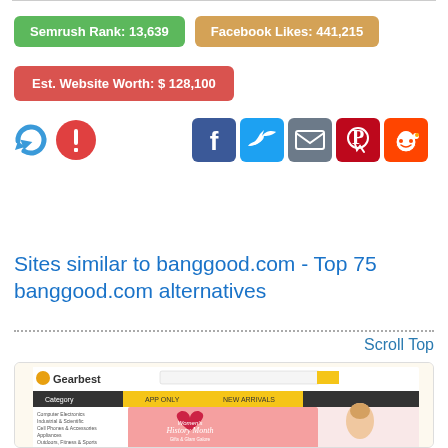Semrush Rank: 13,639
Facebook Likes: 441,215
Est. Website Worth: $ 128,100
[Figure (infographic): Social sharing icons: Facebook, Twitter, Email, Pinterest, Reddit, Plus; and two action icons (refresh, edit)]
Sites similar to banggood.com - Top 75 banggood.com alternatives
Scroll Top
[Figure (screenshot): Screenshot of Gearbest website showing category list, APP ONLY and NEW ARRIVALS tabs, and a Women's History Month banner with a pink/red heart graphic and a woman with flowers]